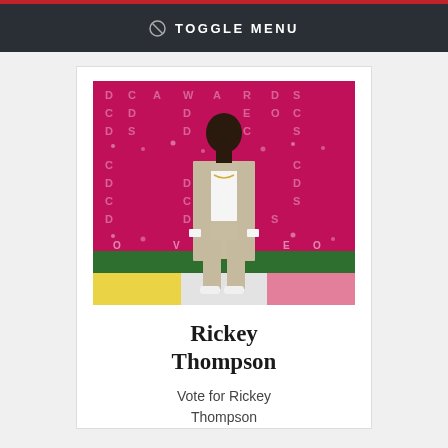TOGGLE MENU
[Figure (photo): Rickey Thompson standing on a red carpet at MTV Video Music Awards, wearing a beige suit with white t-shirt and white sneakers, pink/magenta VMA backdrop behind him]
Rickey Thompson
Vote for Rickey Thompson